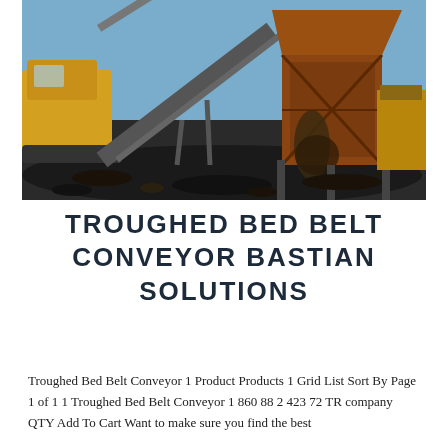[Figure (photo): Industrial conveyor belt system at a mining or aggregate site, showing heavy machinery including an excavator on the left and a large metal conveyor/processing structure on the right, with rocky material being processed.]
TROUGHED BED BELT CONVEYOR BASTIAN SOLUTIONS
Troughed Bed Belt Conveyor 1 Product Products 1 Grid List Sort By Page 1 of 1 1 Troughed Bed Belt Conveyor 1 860 88 2 423 72 TR company QTY Add To Cart Want to make sure you find the best